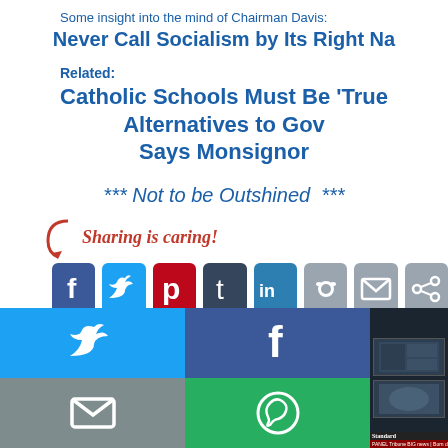Some insight into the mind of Chairman Davis:
Never Call Socialism by Its Right Na...
Related:
Catholic Schools Must Be 'True Alternatives to Gov... Says Monsignor
*** Not to be Outshined  ***
Sharing is caring!
[Figure (infographic): Social media sharing buttons: Facebook, Twitter, Pinterest, Tumblr, LinkedIn, Reddit, Email, Share. Below: large Twitter and Facebook tiles, Email and WhatsApp tiles, SMS and a circular icon tile. A video thumbnail on the right.]